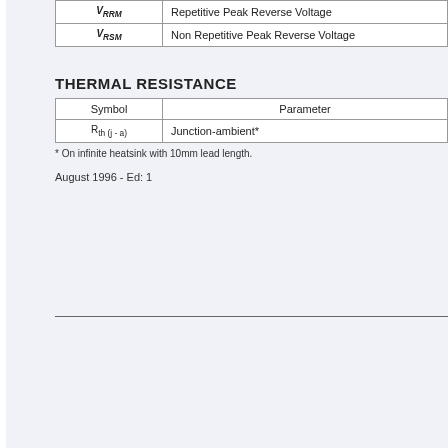| Symbol | Parameter |
| --- | --- |
| VRRM | Repetitive Peak Reverse Voltage |
| VRSM | Non Repetitive Peak Reverse Voltage |
THERMAL RESISTANCE
| Symbol | Parameter |
| --- | --- |
| Rth (j - a) | Junction-ambient* |
* On infinite heatsink with 10mm lead length.
August 1996 - Ed: 1